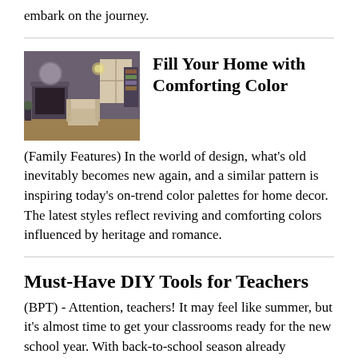embark on the journey.
[Figure (photo): Interior room with dark walls, fireplace, armchair, and window with natural light — a cozy living space with heritage-inspired decor.]
Fill Your Home with Comforting Color
(Family Features) In the world of design, what's old inevitably becomes new again, and a similar pattern is inspiring today's on-trend color palettes for home decor. The latest styles reflect reviving and comforting colors influenced by heritage and romance.
Must-Have DIY Tools for Teachers
(BPT) - Attention, teachers! It may feel like summer, but it's almost time to get your classrooms ready for the new school year. With back-to-school season already sneaking up, it's …